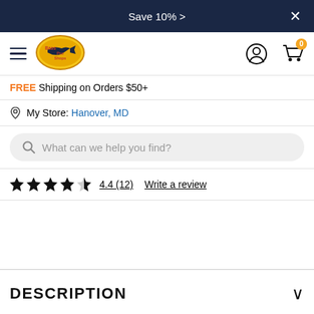Save 10% >
[Figure (logo): Bass Pro Shops logo - yellow oval with fish and text]
FREE Shipping on Orders $50+
My Store: Hanover, MD
What can we help you find?
4.4 (12)  Write a review
DESCRIPTION